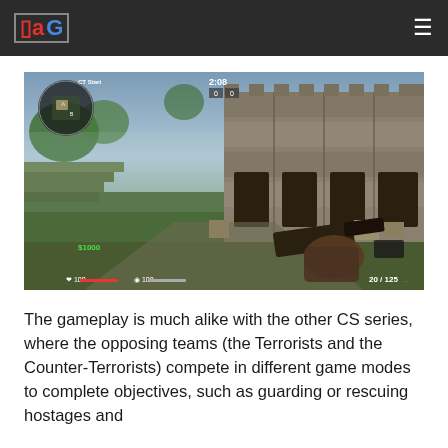GeeksforGeeks logo and navigation
[Figure (screenshot): Counter-Strike: Global Offensive first-person shooter gameplay screenshot showing a stone fortress map with HUD elements including minimap, health bar showing 100, armor showing 100, money $1000, timer 2:08, score 0:0, and ammo count 20/85]
The gameplay is much alike with the other CS series, where the opposing teams (the Terrorists and the Counter-Terrorists) compete in different game modes to complete objectives, such as guarding or rescuing hostages and